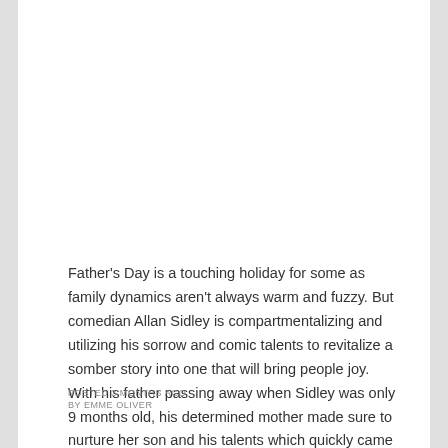Father's Day is a touching holiday for some as family dynamics aren't always warm and fuzzy. But comedian Allan Sidley is compartmentalizing and utilizing his sorrow and comic talents to revitalize a somber story into one that will bring people joy. With his father passing away when Sidley was only 9 months old, his determined mother made sure to nurture her son and his talents which quickly came out in his writing …
POSTED 3 MONTHS AGO
BY EMME OLIVER